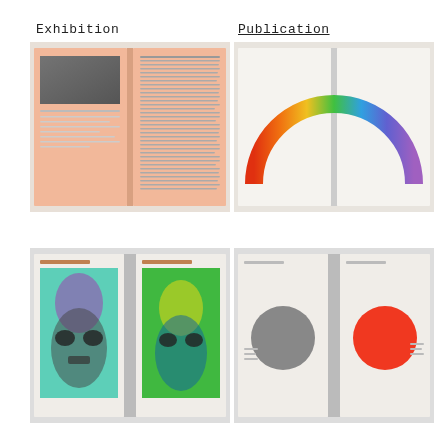Exhibition
Publication
[Figure (photo): Open book spread with salmon/pink pages showing a photograph and dense text columns]
[Figure (photo): Open book spread showing a rainbow arc gradient from red/orange through green to blue/violet on white pages]
[Figure (photo): Open book showing two portrait pages with abstract colorful faces — one purple/teal on left, one green/yellow on right]
[Figure (photo): Open book spread with two pages each showing a large circle — a grey circle on left page, a red/orange circle on right page]